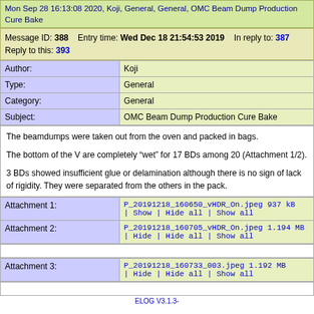Mon Sep 28 16:13:08 2020, Koji, General, General, OMC Beam Dump Production Cure Bake
| Message ID: 388 | Entry time: Wed Dec 18 21:54:53 2019 | In reply to: 387 | Reply to this: 393 |
| Author: | Type: | Category: | Subject: |
| --- | --- | --- | --- |
| Author: | Koji |
| Type: | General |
| Category: | General |
| Subject: | OMC Beam Dump Production Cure Bake |
The beamdumps were taken out from the oven and packed in bags.

The bottom of the V are completely “wet” for 17 BDs among 20 (Attachment 1/2).

3 BDs showed insufficient glue or delamination although there is no sign of lack of rigidity. They were separated from the others in the pack.
| Attachment 1: | P_20191218_160650_vHDR_On.jpeg 937 kB | Show | Hide all | Show all |
| Attachment 2: | P_20191218_160705_vHDR_On.jpeg 1.194 MB | Hide | Hide all | Show all |
| Attachment 3: | P_20191218_160733_003.jpeg 1.192 MB | Hide | Hide all | Show all |
ELOG V3.1.3-